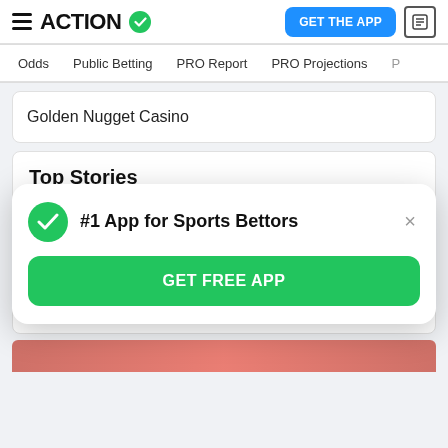ACTION (logo with checkmark badge) | GET THE APP (button) | News icon
Odds | Public Betting | PRO Report | PRO Projections | P...
Golden Nugget Casino
Top Stories
[Figure (photo): Three tiled photos of football players]
FANTASY FOOTBALL
Koerner's Top-150 Fantasy Football Rankings
Sean Koerner
7 hours ago
#1 App for Sports Bettors
GET FREE APP